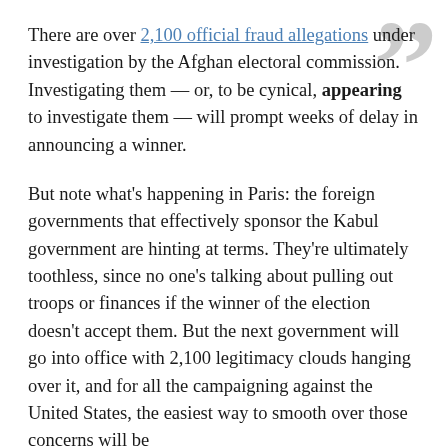There are over 2,100 official fraud allegations under investigation by the Afghan electoral commission. Investigating them — or, to be cynical, appearing to investigate them — will prompt weeks of delay in announcing a winner.
But note what's happening in Paris: the foreign governments that effectively sponsor the Kabul government are hinting at terms. They're ultimately toothless, since no one's talking about pulling out troops or finances if the winner of the election doesn't accept them. But the next government will go into office with 2,100 legitimacy clouds hanging over it, and for all the campaigning against the United States, the easiest way to smooth over those concerns will be